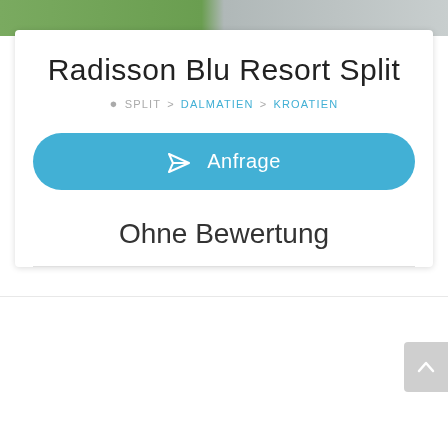[Figure (photo): Top image strip showing greenery on left and gray/interior on right]
Radisson Blu Resort Split
SPLIT > DALMATIEN > KROATIEN
Anfrage
Ohne Bewertung
Auf einen Blick
Wir verwenden Tracking-Cookies von Google Analytics, um Ihr Nutzungserlebnis für unsere Webseite zu optimieren. Datenschutz
183 moderne Zimmer & Suiten sowie zwei Penthouse Suiten
2.000 qm Spa mit Pool, Whirlpools, Saunen, 12 Wellnass-Kabinen